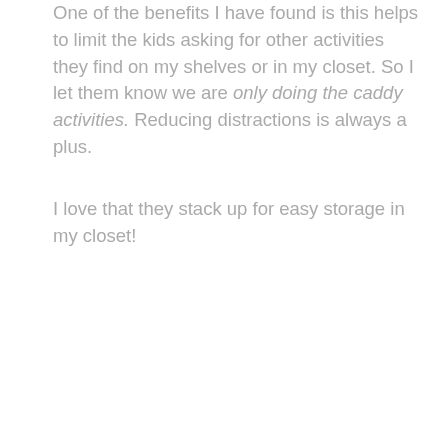One of the benefits I have found is this helps to limit the kids asking for other activities they find on my shelves or in my closet. So I let them know we are only doing the caddy activities. Reducing distractions is always a plus.
I love that they stack up for easy storage in my closet!